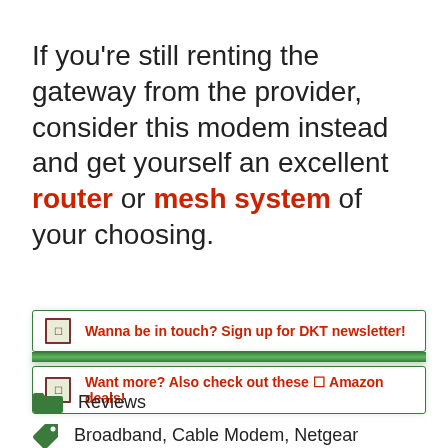If you're still renting the gateway from the provider, consider this modem instead and get yourself an excellent router or mesh system of your choosing.
Wanna be in touch? Sign up for DKT newsletter!
Want more? Also check out these 🔗 Amazon deals!
Reviews
Broadband, Cable Modem, Netgear